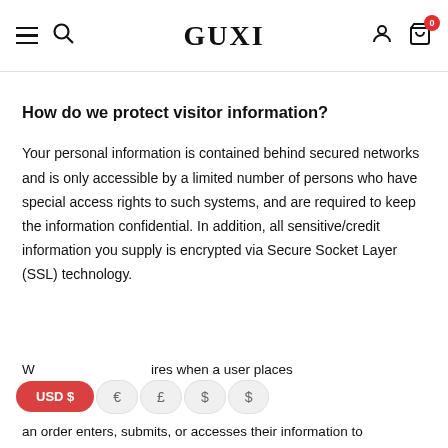GUXI — navigation bar with hamburger, search, user and cart icons
How do we protect visitor information?
Your personal information is contained behind secured networks and is only accessible by a limited number of persons who have special access rights to such systems, and are required to keep the information confidential. In addition, all sensitive/credit information you supply is encrypted via Secure Socket Layer (SSL) technology.
W... ires when a user places an order enters, submits, or accesses their information to